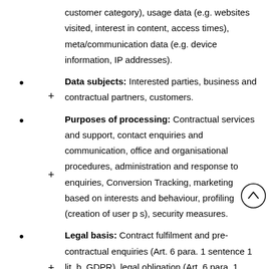customer category), usage data (e.g. websites visited, interest in content, access times), meta/communication data (e.g. device information, IP addresses).
Data subjects: Interested parties, business and contractual partners, customers.
Purposes of processing: Contractual services and support, contact enquiries and communication, office and organisational procedures, administration and response to enquiries, Conversion Tracking, marketing based on interests and behaviour, profiling (creation of user profiles), security measures.
Legal basis: Contract fulfilment and pre-contractual enquiries (Art. 6 para. 1 sentence 1 lit. b. GDPR), legal obligation (Art. 6 para. 1 sentence 1 lit. c. GDPR), legitimate interests (Art. 6 para. 1 sentence 1 lit. f. GDPR).